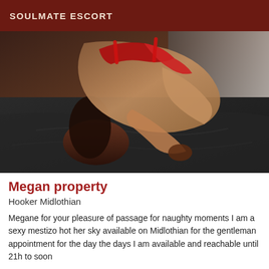SOULMATE ESCORT
[Figure (photo): Photo of a woman in red lingerie posing on dark bedding]
Megan property
Hooker Midlothian
Megane for your pleasure of passage for naughty moments I am a sexy mestizo hot her sky available on Midlothian for the gentleman appointment for the day the days I am available and reachable until 21h to soon